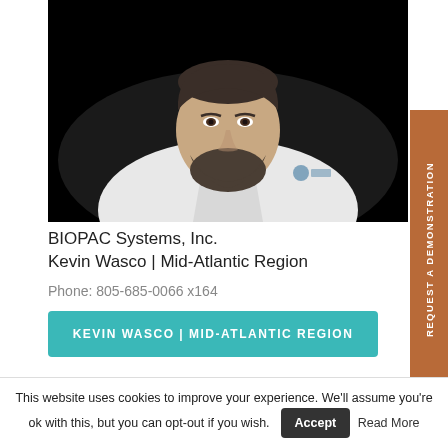[Figure (photo): Headshot of a bearded man in a white BIOPAC Systems shirt against a black background]
BIOPAC Systems, Inc.
Kevin Wasco | Mid-Atlantic Region
Phone: 805-685-0066 x164
KEVIN WASCO | MID-ATLANTIC REGION
REQUEST A DEMONSTRATION
This website uses cookies to improve your experience. We'll assume you're ok with this, but you can opt-out if you wish. Accept Read More